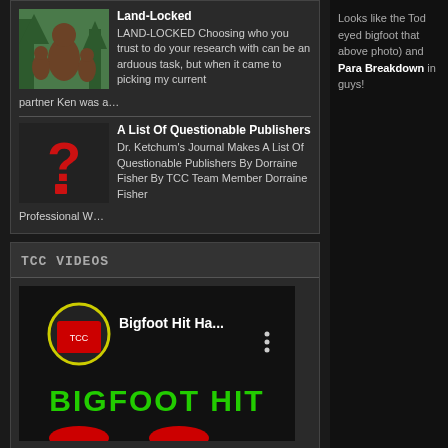Land-Locked
LAND-LOCKED Choosing who you trust to do your research with can be an arduous task, but when it came to picking my current partner Ken was a…
A List Of Questionable Publishers
Dr. Ketchum's Journal Makes A List Of Questionable Publishers By Dorraine Fisher By TCC Team Member Dorraine Fisher Professional W…
TCC VIDEOS
[Figure (screenshot): Video thumbnail showing 'Bigfoot Hit Ha...' with a circular avatar icon, green BIGFOOT HIT text, and three-dot menu icon]
Looks like the Tod eyed bigfoot that above photo) and Para Breakdown in guys!